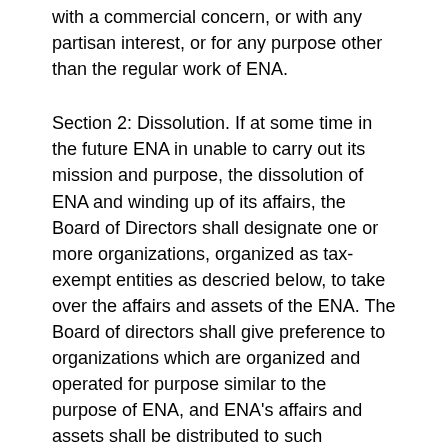with a commercial concern, or with any partisan interest, or for any purpose other than the regular work of ENA.
Section 2: Dissolution. If at some time in the future ENA in unable to carry out its mission and purpose, the dissolution of ENA and winding up of its affairs, the Board of Directors shall designate one or more organizations, organized as tax-exempt entities as descried below, to take over the affairs and assets of the ENA. The Board of directors shall give preference to organizations which are organized and operated for purpose similar to the purpose of ENA, and ENA's affairs and assets shall be distributed to such organizations or organizations, in such proportions as the Board of Directors shall determine, such that the spirit of ENA is carried forward for the benefit of its membership